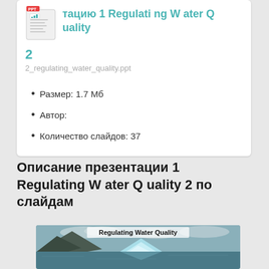[Figure (screenshot): Card showing PPT file icon with title 'презентацию 1 Regulating Water Quality 2', filename '2_regulating_water_quality.ppt', and metadata: Размер: 1.7 Мб, Автор:, Количество слайдов: 37]
Описание презентации 1 Regulating W ater Q uality 2 по слайдам
[Figure (photo): Slide thumbnail showing 'Regulating Water Quality' text over a photo of icebergs and mountains in water]